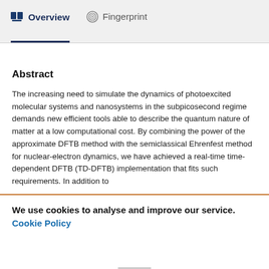Overview   Fingerprint
Abstract
The increasing need to simulate the dynamics of photoexcited molecular systems and nanosystems in the subpicosecond regime demands new efficient tools able to describe the quantum nature of matter at a low computational cost. By combining the power of the approximate DFTB method with the semiclassical Ehrenfest method for nuclear-electron dynamics, we have achieved a real-time time-dependent DFTB (TD-DFTB) implementation that fits such requirements. In addition to
We use cookies to analyse and improve our service. Cookie Policy